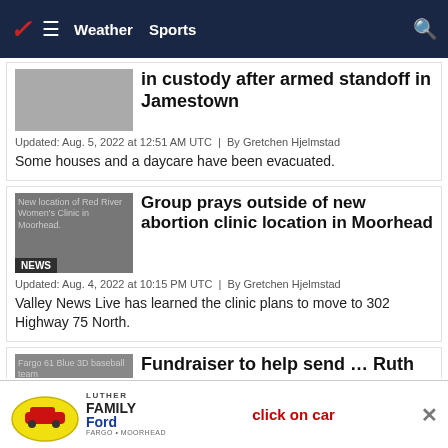Valley News Live — Weather | Sports
in custody after armed standoff in Jamestown
Updated: Aug. 5, 2022 at 12:51 AM UTC | By Gretchen Hjelmstad
Some houses and a daycare have been evacuated.
[Figure (photo): New location of Red River Women's Clinic in Moorhead. NEWS badge overlay.]
Group prays outside of new abortion clinic location in Moorhead
Updated: Aug. 4, 2022 at 10:15 PM UTC | By Gretchen Hjelmstad
Valley News Live has learned the clinic plans to move to 302 Highway 75 North.
[Figure (photo): Fargo 61 Blue 3D baseball team. NEWS badge overlay.]
Fundraiser to help send ... Ruth
[Figure (logo): Luther Family Ford advertisement banner — click on car]